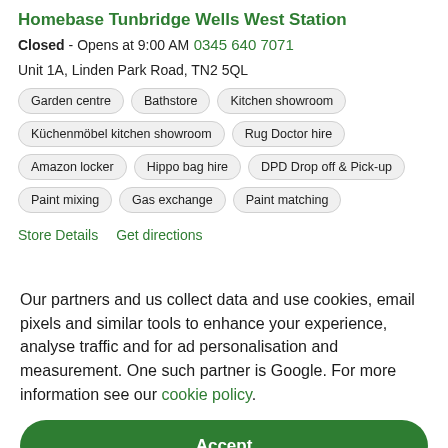Homebase Tunbridge Wells West Station
Closed - Opens at 9:00 AM
0345 640 7071
Unit 1A, Linden Park Road, TN2 5QL
Garden centre
Bathstore
Kitchen showroom
Küchenmöbel kitchen showroom
Rug Doctor hire
Amazon locker
Hippo bag hire
DPD Drop off & Pick-up
Paint mixing
Gas exchange
Paint matching
Store Details   Get directions
Our partners and us collect data and use cookies, email pixels and similar tools to enhance your experience, analyse traffic and for ad personalisation and measurement. One such partner is Google. For more information see our cookie policy.
Accept